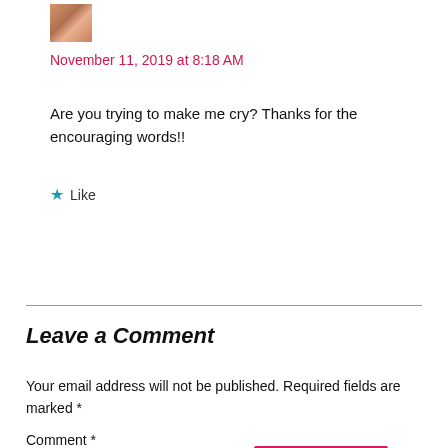[Figure (photo): Small avatar photo of a person]
November 11, 2019 at 8:18 AM
Are you trying to make me cry? Thanks for the encouraging words!!
★ Like
Reply
Leave a Comment
Your email address will not be published. Required fields are marked *
Comment *